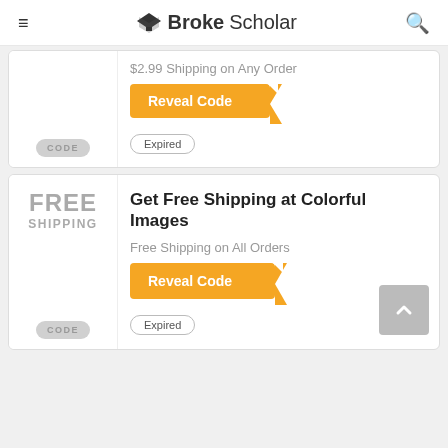BrokeScholar
$2.99 Shipping on Any Order
Reveal Code
Expired
FREE SHIPPING
Get Free Shipping at Colorful Images
Free Shipping on All Orders
Reveal Code
Expired